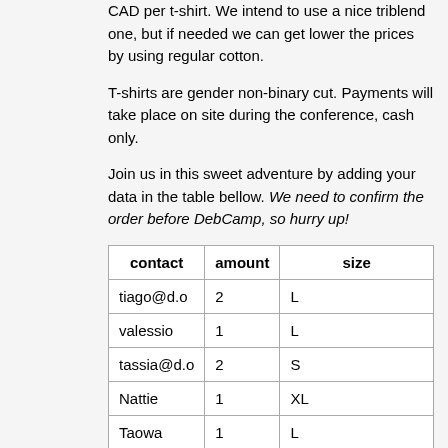CAD per t-shirt. We intend to use a nice triblend one, but if needed we can get lower the prices by using regular cotton.
T-shirts are gender non-binary cut. Payments will take place on site during the conference, cash only.
Join us in this sweet adventure by adding your data in the table bellow. We need to confirm the order before DebCamp, so hurry up!
| contact | amount | size |
| --- | --- | --- |
| tiago@d.o | 2 | L |
| valessio | 1 | L |
| tassia@d.o | 2 | S |
| Nattie | 1 | XL |
| Taowa | 1 | L |
| urbec | 1 | >= equivalent of american male 3X ;) |
| Jeffity | 1 | S |